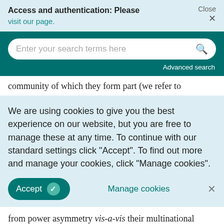Access and authentication: Please visit our page. Close ×
[Figure (screenshot): Search bar with teal background, rounded input field with placeholder 'Enter your search terms here' and search icon, and 'Advanced search' link below]
community of which they form part (we refer to
We are using cookies to give you the best experience on our website, but you are free to manage these at any time. To continue with our standard settings click "Accept". To find out more and manage your cookies, click "Manage cookies".
Accept  Manage cookies  ×
from power asymmetry vis-a-vis their multinational buyers (Hoque et al., 2016). As a consequence,